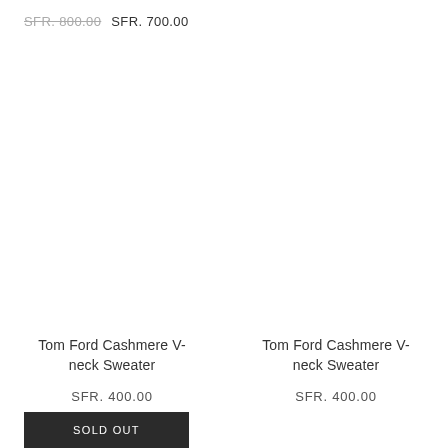SFR. 800.00  SFR. 700.00
Tom Ford Cashmere V-neck Sweater
SFR. 400.00
Tom Ford Cashmere V-neck Sweater
SFR. 400.00
SOLD OUT